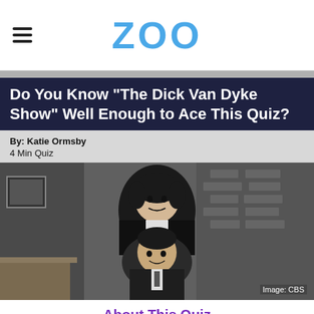ZOO
Do You Know "The Dick Van Dyke Show" Well Enough to Ace This Quiz?
By: Katie Ormsby
4 Min Quiz
[Figure (photo): Black and white photo of two people from The Dick Van Dyke Show, a woman standing behind a man who is seated, both smiling. Image credit: CBS]
About This Quiz